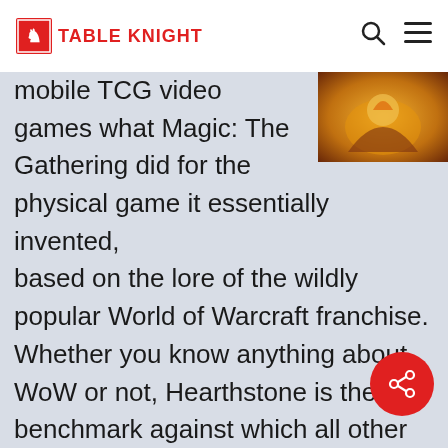TABLE KNIGHT
[Figure (photo): Game artwork thumbnail showing World of Warcraft / Hearthstone style fantasy scene with warm orange tones]
mobile TCG video games what Magic: The Gathering did for the physical game it essentially invented, based on the lore of the wildly popular World of Warcraft franchise. Whether you know anything about WoW or not, Hearthstone is the benchmark against which all other digital TCGs are measured. The game has incredibly high production values, as we expect from Blizzard entertainment. Games are fast and intense. New formats and card packs